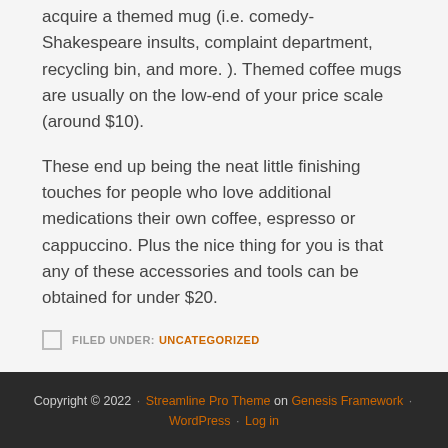acquire a themed mug (i.e. comedy-Shakespeare insults, complaint department, recycling bin, and more. ). Themed coffee mugs are usually on the low-end of your price scale (around $10).
These end up being the neat little finishing touches for people who love additional medications their own coffee, espresso or cappuccino. Plus the nice thing for you is that any of these accessories and tools can be obtained for under $20.
FILED UNDER: UNCATEGORIZED
Copyright © 2022 · Streamline Pro Theme on Genesis Framework · WordPress · Log in